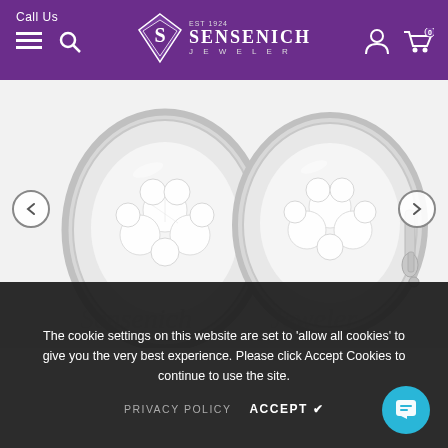Call Us
[Figure (logo): Sensenich Jeweler logo with diamond S emblem on purple header background]
[Figure (photo): Two oval diamond cluster stud earrings in white gold bezel setting, displayed on white background]
The cookie settings on this website are set to 'allow all cookies' to give you the very best experience. Please click Accept Cookies to continue to use the site.
PRIVACY POLICY   ACCEPT ✔